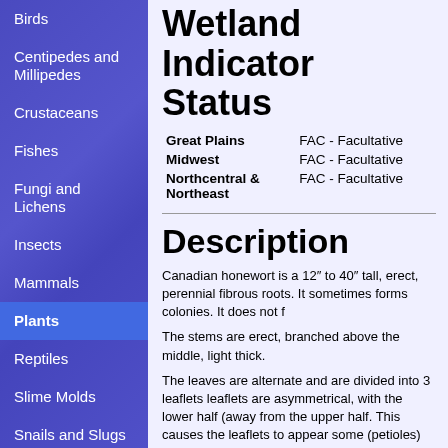Birds
Centipedes and Millipedes
Crustaceans
Fishes
Fungi and Lichens
Insects
Mammals
Plants
Reptiles
Slime Molds
Snails and Slugs
Wetland Indicator Status
| Region | Status |
| --- | --- |
| Great Plains | FAC - Facultative |
| Midwest | FAC - Facultative |
| Northcentral & Northeast | FAC - Facultative |
Description
Canadian honewort is a 12″ to 40″ tall, erect, perennial fibrous roots. It sometimes forms colonies. It does not f
The stems are erect, branched above the middle, light thick.
The leaves are alternate and are divided into 3 leaflets. The leaflets are asymmetrical, with the lower half (away from the upper half. This causes the leaflets to appear some (petioles) that are up to 4″ long. The petiole forms a sh sheath is not inflated. When flattened out it is less than
The leaflets are lance-shaped, elliptic, or egg-shaped, sometimes cut into two unevenly-sized lobes. They taper and taper at the tip to a sharp point. The upper and low with coarse or fine, sharp, forward-pointing teeth. They larger and forward-pointing. The lateral veins of the lea branches extend to the tips of the major teeth. The leav